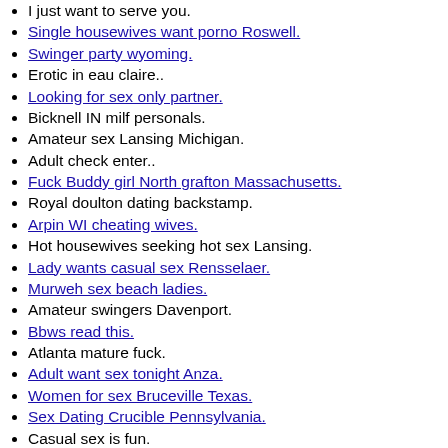I just want to serve you.
Single housewives want porno Roswell.
Swinger party wyoming.
Erotic in eau claire..
Looking for sex only partner.
Bicknell IN milf personals.
Amateur sex Lansing Michigan.
Adult check enter..
Fuck Buddy girl North grafton Massachusetts.
Royal doulton dating backstamp.
Arpin WI cheating wives.
Hot housewives seeking hot sex Lansing.
Lady wants casual sex Rensselaer.
Murweh sex beach ladies.
Amateur swingers Davenport.
Bbws read this.
Atlanta mature fuck.
Adult want sex tonight Anza.
Women for sex Bruceville Texas.
Sex Dating Crucible Pennsylvania.
Casual sex is fun.
Swingers Personals in Durand.
Local sluts that want to fuck chat.
Looking to fuck in Las Vegas.
Sex Elkins at Elkins.